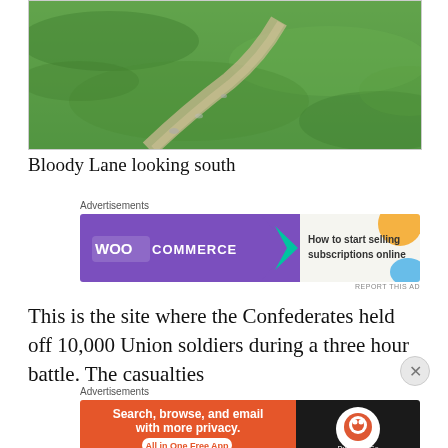[Figure (photo): Photo of Bloody Lane looking south — green grass field with a faint dirt path running diagonally]
Bloody Lane looking south
[Figure (screenshot): WooCommerce advertisement banner: 'How to start selling subscriptions online']
This is the site where the Confederates held off 10,000 Union soldiers during a three hour battle. The casualties
[Figure (screenshot): DuckDuckGo advertisement banner: 'Search, browse, and email with more privacy. All in One Free App']